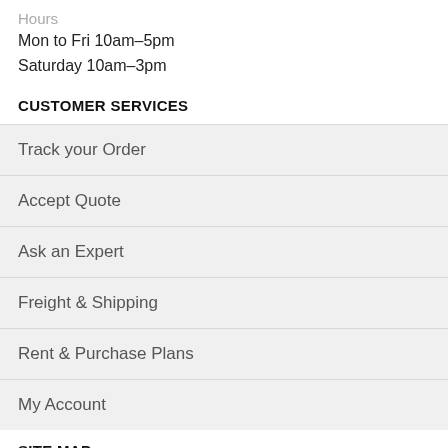Hours
Mon to Fri 10am–5pm
Saturday 10am–3pm
CUSTOMER SERVICES
Track your Order
Accept Quote
Ask an Expert
Freight & Shipping
Rent & Purchase Plans
My Account
SITE MAP